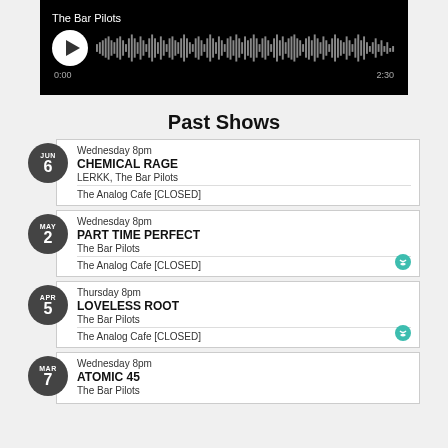[Figure (screenshot): Audio player widget with black background, play button, waveform visualization, and time markers 0:00 and 2:30. Title shows 'The Bar Pilots'.]
Past Shows
JUN 6 - Wednesday 8pm - CHEMICAL RAGE - LERKK, The Bar Pilots - The Analog Cafe [CLOSED]
MAY 2 - Wednesday 8pm - PART TIME PERFECT - The Bar Pilots - The Analog Cafe [CLOSED]
APR 5 - Thursday 8pm - LOVELESS ROOT - The Bar Pilots - The Analog Cafe [CLOSED]
MAR 7 - Wednesday 8pm - ATOMIC 45 - The Bar Pilots